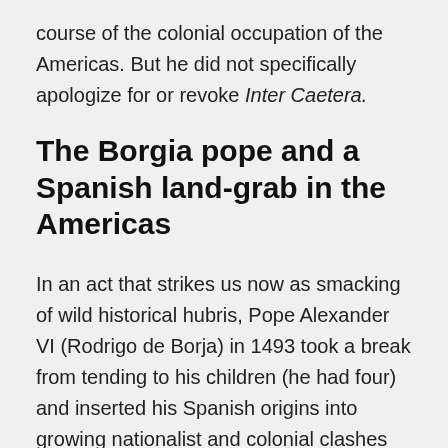course of the colonial occupation of the Americas. But he did not specifically apologize for or revoke Inter Caetera.
The Borgia pope and a Spanish land-grab in the Americas
In an act that strikes us now as smacking of wild historical hubris, Pope Alexander VI (Rodrigo de Borja) in 1493 took a break from tending to his children (he had four) and inserted his Spanish origins into growing nationalist and colonial clashes between Spain and Portugal.